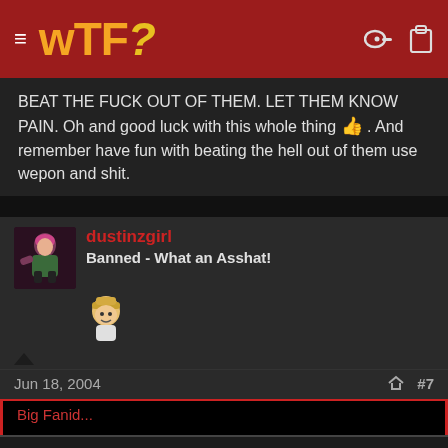WTF? (website header with hamburger menu, key and clipboard icons)
BEAT THE FUCK OUT OF THEM. LET THEM KNOW PAIN. Oh and good luck with this whole thing 👍 . And remember have fun with beating the hell out of them use wepon and shit.
dustinzgirl
Banned - What an Asshat!
Jun 18, 2004  #7
Big Fanid...
This site uses cookies to help personalise content, tailor your experience and to keep you logged in if you register.
By continuing to use this site, you are consenting to our use of cookies.